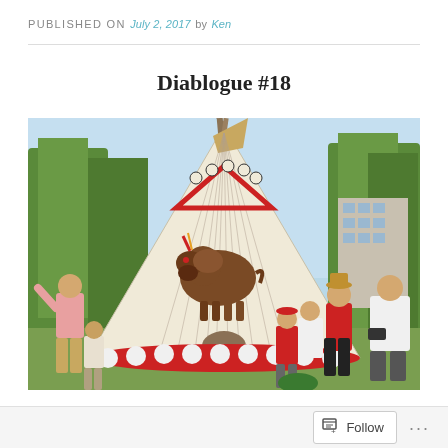PUBLISHED ON July 2, 2017 by Ken
Diablogue #18
[Figure (photo): A large decorated tipi/teepee with a painted buffalo/bison figure and red polka-dot border at the base. People including children and adults are gathered around it outdoors on a sunny day with trees and a building visible in the background.]
Follow ...